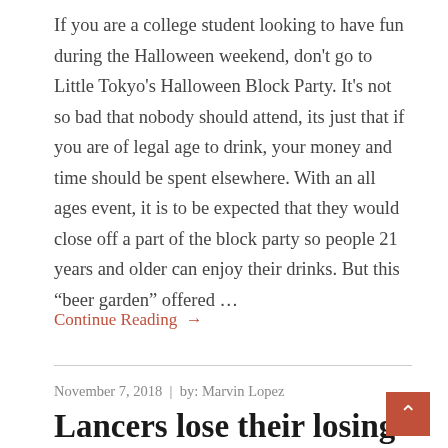If you are a college student looking to have fun during the Halloween weekend, don't go to Little Tokyo's Halloween Block Party. It's not so bad that nobody should attend, its just that if you are of legal age to drink, your money and time should be spent elsewhere. With an all ages event, it is to be expected that they would close off a part of the block party so people 21 years and older can enjoy their drinks. But this “beer garden” offered …
Continue Reading →
November 7, 2018  |  by: Marvin Lopez
Lancers lose their losing streak at L.A. Harbor...